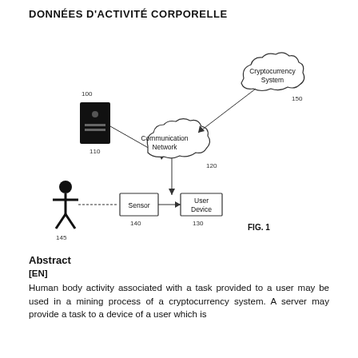DONNÉES D'ACTIVITÉ CORPORELLE
[Figure (engineering-diagram): Patent diagram FIG. 1 showing a system with components: 100 (server/device at top left), 110 (label below server), 120 (Communication Network cloud in center), 150 (Cryptocurrency System cloud at top right), 145 (human figure at bottom left), 140 (Sensor box at bottom center-left), 130 (User Device box at bottom center). Arrows connect the components showing data flow.]
FIG. 1
Abstract
[EN]
Human body activity associated with a task provided to a user may be used in a mining process of a cryptocurrency system. A server may provide a task to a device of a user which is